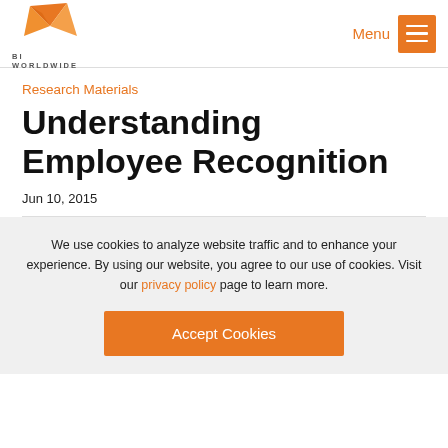[Figure (logo): BI WORLDWIDE logo with orange wing/arrow graphic and text 'BI WORLDWIDE' below]
Research Materials
Understanding Employee Recognition
Jun 10, 2015
We use cookies to analyze website traffic and to enhance your experience. By using our website, you agree to our use of cookies. Visit our privacy policy page to learn more.
Accept Cookies